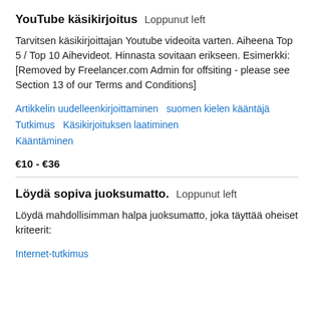YouTube käsikirjoitus  Loppunut left
Tarvitsen käsikirjoittajan Youtube videoita varten. Aiheena Top 5 / Top 10 Aihevideot. Hinnasta sovitaan erikseen. Esimerkki: [Removed by Freelancer.com Admin for offsiting - please see Section 13 of our Terms and Conditions]
Artikkelin uudelleenkirjoittaminen   suomen kielen kääntäjä   Tutkimus   Käsikirjoituksen laatiminen   Kääntäminen
€10 - €36
Löydä sopiva juoksumatto.  Loppunut left
Löydä mahdollisimman halpa juoksumatto, joka täyttää oheiset kriteerit:
Internet-tutkimus